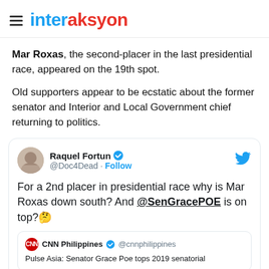interaksyon
Mar Roxas, the second-placer in the last presidential race, appeared on the 19th spot.
Old supporters appear to be ecstatic about the former senator and Interior and Local Government chief returning to politics.
[Figure (screenshot): Embedded tweet from @Doc4Dead (Raquel Fortun) with verified badge and Follow button, Twitter bird icon top right. Tweet text: 'For a 2nd placer in presidential race why is Mar Roxas down south? And @SenGracePOE is on top? [thinking face emoji]'. Contains retweet card from @cnnphilippines CNN Philippines: 'Pulse Asia: Senator Grace Poe tops 2019 senatorial']